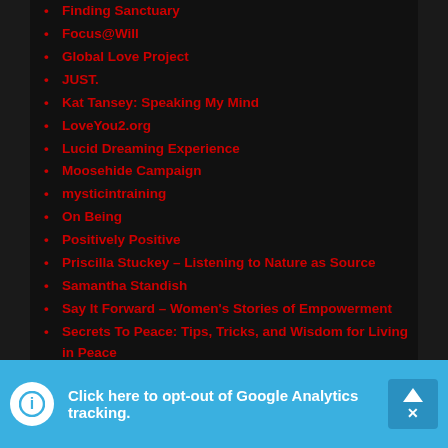Finding Sanctuary
Focus@Will
Global Love Project
JUST.
Kat Tansey: Speaking My Mind
LoveYou2.org
Lucid Dreaming Experience
Moosehide Campaign
mysticintraining
On Being
Positively Positive
Priscilla Stuckey – Listening to Nature as Source
Samantha Standish
Say It Forward – Women's Stories of Empowerment
Secrets To Peace: Tips, Tricks, and Wisdom for Living in Peace
Selected Peer-Reviewed Publications on Psi Research
Shift in Action – Institute of Noetic Sciences
The Harnish Foundation
Click here to opt-out of Google Analytics tracking.